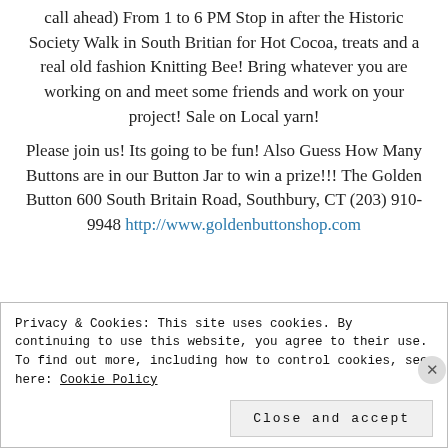call ahead) From 1 to 6 PM Stop in after the Historic Society Walk in South Britian for Hot Cocoa, treats and a real old fashion Knitting Bee! Bring whatever you are working on and meet some friends and work on your project! Sale on Local yarn!
Please join us! Its going to be fun! Also Guess How Many Buttons are in our Button Jar to win a prize!!! The Golden Button 600 South Britain Road, Southbury, CT (203) 910-9948 http://www.goldenbuttonshop.com
Hope to see you there!!!!
Privacy & Cookies: This site uses cookies. By continuing to use this website, you agree to their use. To find out more, including how to control cookies, see here: Cookie Policy
Close and accept